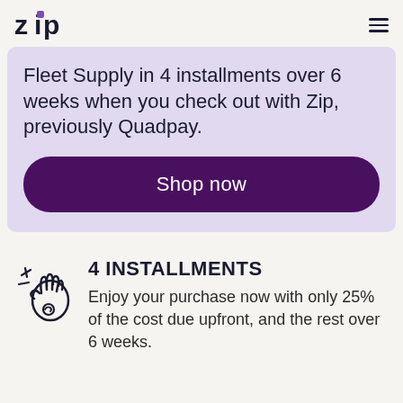Zip logo and menu
Fleet Supply in 4 installments over 6 weeks when you check out with Zip, previously Quadpay.
Shop now
4 INSTALLMENTS
Enjoy your purchase now with only 25% of the cost due upfront, and the rest over 6 weeks.